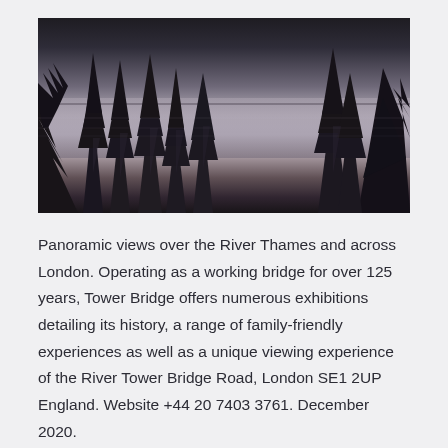[Figure (photo): Black and white / desaturated photo of a lake with conifer tree reflections and evergreen trees in the foreground]
Panoramic views over the River Thames and across London. Operating as a working bridge for over 125 years, Tower Bridge offers numerous exhibitions detailing its history, a range of family-friendly experiences as well as a unique viewing experience of the River Tower Bridge Road, London SE1 2UP England. Website +44 20 7403 3761. December 2020.